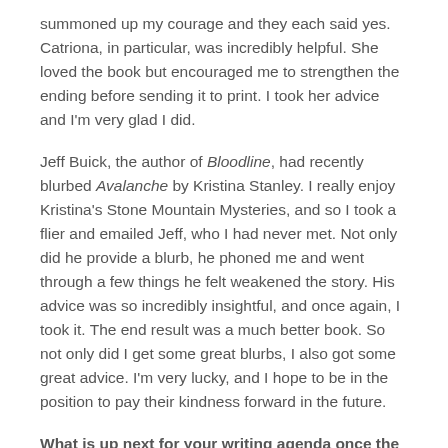summoned up my courage and they each said yes. Catriona, in particular, was incredibly helpful. She loved the book but encouraged me to strengthen the ending before sending it to print. I took her advice and I'm very glad I did.
Jeff Buick, the author of Bloodline, had recently blurbed Avalanche by Kristina Stanley. I really enjoy Kristina's Stone Mountain Mysteries, and so I took a flier and emailed Jeff, who I had never met. Not only did he provide a blurb, he phoned me and went through a few things he felt weakened the story. His advice was so incredibly insightful, and once again, I took it. The end result was a much better book. So not only did I get some great blurbs, I also got some great advice. I'm very lucky, and I hope to be in the position to pay their kindness forward in the future.
What is up next for your writing agenda once the dust settles from the launch of A Skeleton in the